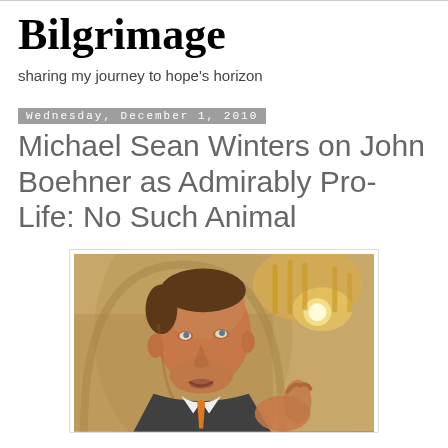Bilgrimage
sharing my journey to hope's horizon
Wednesday, December 1, 2010
Michael Sean Winters on John Boehner as Admirably Pro-Life: No Such Animal
[Figure (photo): Photo of a man in a suit with an orange tie, looking upward, with ornate architectural/chandelier background]